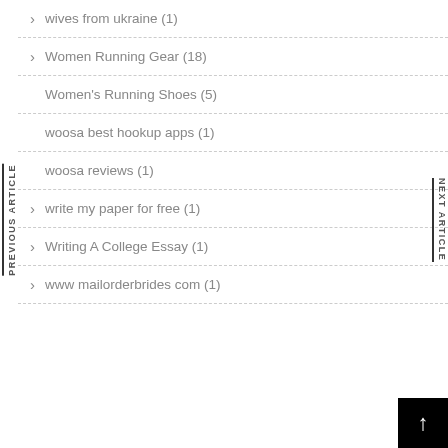wives from ukraine (1)
Women Running Gear (18)
Women's Running Shoes (5)
woosa best hookup apps (1)
woosa reviews (1)
write my paper for free (1)
Writing A College Essay (1)
www mailorderbrides com (1)